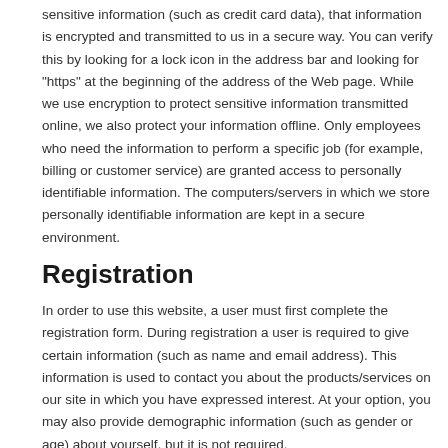sensitive information (such as credit card data), that information is encrypted and transmitted to us in a secure way. You can verify this by looking for a lock icon in the address bar and looking for "https" at the beginning of the address of the Web page. While we use encryption to protect sensitive information transmitted online, we also protect your information offline. Only employees who need the information to perform a specific job (for example, billing or customer service) are granted access to personally identifiable information. The computers/servers in which we store personally identifiable information are kept in a secure environment.
Registration
In order to use this website, a user must first complete the registration form. During registration a user is required to give certain information (such as name and email address). This information is used to contact you about the products/services on our site in which you have expressed interest. At your option, you may also provide demographic information (such as gender or age) about yourself, but it is not required.